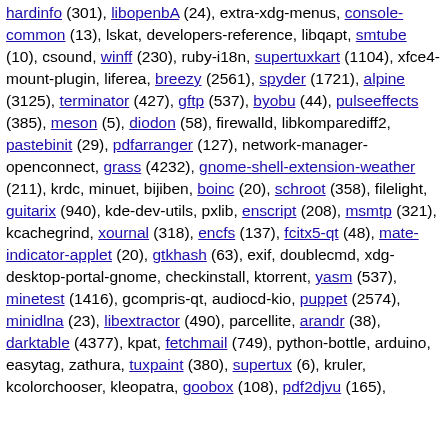hardinfo (301), libopenbA (24), extra-xdg-menus, console-common (13), lskat, developers-reference, libqapt, smtube (10), csound, winff (230), ruby-i18n, supertuxkart (1104), xfce4-mount-plugin, liferea, breezy (2561), spyder (1721), alpine (3125), terminator (427), gftp (537), byobu (44), pulseeffects (385), meson (5), diodon (58), firewalld, libkomparediff2, pastebinit (29), pdfarranger (127), network-manager-openconnect, grass (4232), gnome-shell-extension-weather (211), krdc, minuet, bijiben, boinc (20), schroot (358), filelight, guitarix (940), kde-dev-utils, pxlib, enscript (208), msmtp (321), kcachegrind, xournal (318), encfs (137), fcitx5-qt (48), mate-indicator-applet (20), gtkhash (63), exif, doublecmd, xdg-desktop-portal-gnome, checkinstall, ktorrent, yasm (537), minetest (1416), gcompris-qt, audiocd-kio, puppet (2574), minidlna (23), libextractor (490), parcellite, arandr (38), darktable (4377), kpat, fetchmail (749), python-bottle, arduino, easytag, zathura, tuxpaint (380), supertux (6), kruler, kcolorchooser, kleopatra, goobox (108), pdf2djvu (165),